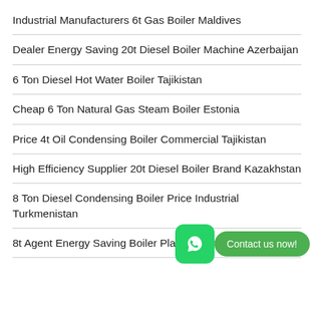Industrial Manufacturers 6t Gas Boiler Maldives
Dealer Energy Saving 20t Diesel Boiler Machine Azerbaijan
6 Ton Diesel Hot Water Boiler Tajikistan
Cheap 6 Ton Natural Gas Steam Boiler Estonia
Price 4t Oil Condensing Boiler Commercial Tajikistan
High Efficiency Supplier 20t Diesel Boiler Brand Kazakhstan
8 Ton Diesel Condensing Boiler Price Industrial Turkmenistan
8t Agent Energy Saving Boiler Plant Turkmenistan